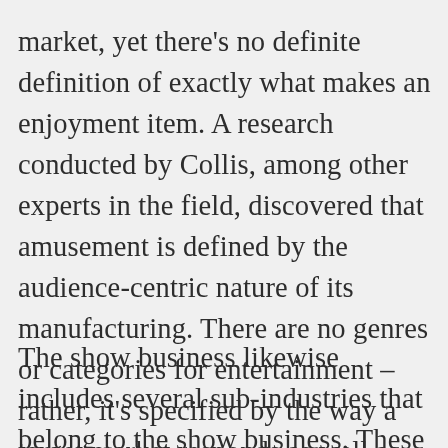market, yet there's no definite definition of exactly what makes an enjoyment item. A research conducted by Collis, among other experts in the field, discovered that amusement is defined by the audience-centric nature of its manufacturing. There are no genres or categories for entertainment – rather, it's specified by the way a target market responds as well as how it feels. That's why we require to pay attention to the way people consume amusement. vanessa getty mother
The show business likewise includes several sub-industries that belong to the show business. These sectors vary from movie theater and also fine arts to